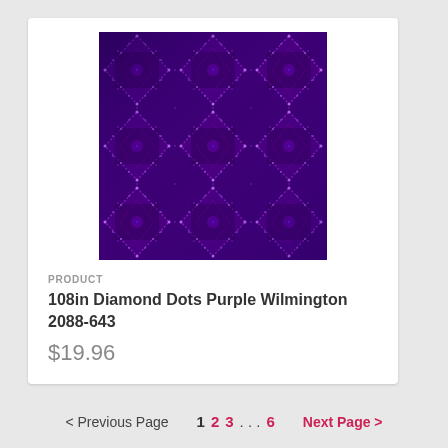[Figure (photo): Purple diamond dots fabric pattern — repeating geometric diamond/argyle shapes formed by tiny dots on a deep purple/indigo background with varying shades of purple and magenta.]
PRODUCT
108in Diamond Dots Purple Wilmington 2088-643
$19.96
< Previous Page   1  2  3  ...  6   Next Page >